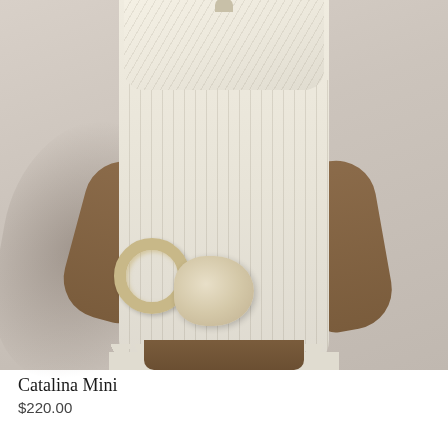[Figure (photo): A woman wearing a cream/ivory ribbed knit mini halter dress, holding a conch shell, with a large resin bangle bracelet, standing against a light grey wall with her shadow behind her. The dress features vertical ribbed texture, a gathered bust with halter neckline, and scalloped hem.]
Catalina Mini
$220.00